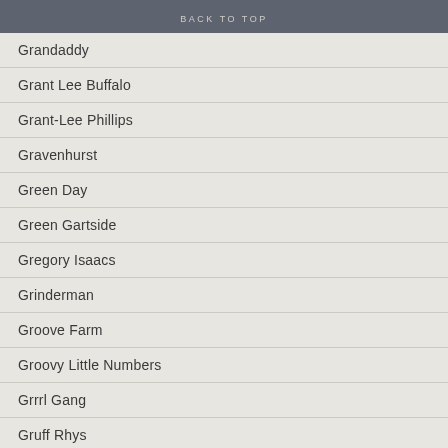BACK TO TOP
Grandaddy
Grant Lee Buffalo
Grant-Lee Phillips
Gravenhurst
Green Day
Green Gartside
Gregory Isaacs
Grinderman
Groove Farm
Groovy Little Numbers
Grrrl Gang
Gruff Rhys
Gumball